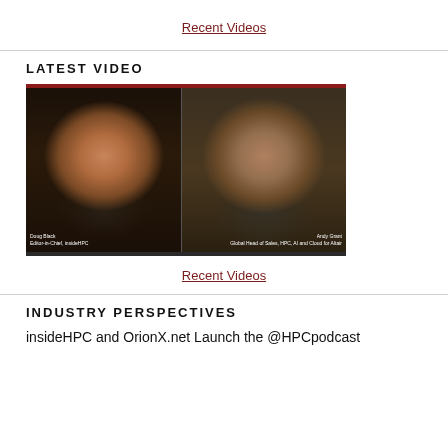Recent Videos
LATEST VIDEO
[Figure (screenshot): Video thumbnail showing two people in a split-screen video call. Left: Doug Black with glasses and mustache, Right: Andy Grant with glasses, against a dark background with a dark red top border and name tags at the bottom.]
Recent Videos
INDUSTRY PERSPECTIVES
insideHPC and OrionX.net Launch the @HPCpodcast